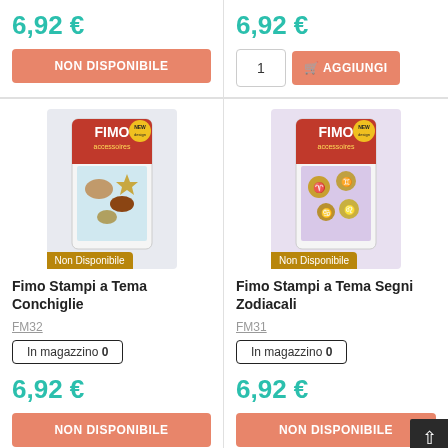6,92 €
NON DISPONIBILE
6,92 €
1
AGGIUNGI
[Figure (photo): FIMO Stampi a Tema Conchiglie product packaging with Non Disponibile badge]
Non Disponibile
Fimo Stampi a Tema Conchiglie
FM32
In magazzino 0
6,92 €
NON DISPONIBILE
[Figure (photo): FIMO Stampi a Tema Segni Zodiacali product packaging with Non Disponibile badge]
Non Disponibile
Fimo Stampi a Tema Segni Zodiacali
FM31
In magazzino 0
6,92 €
NON DISPONIBILE